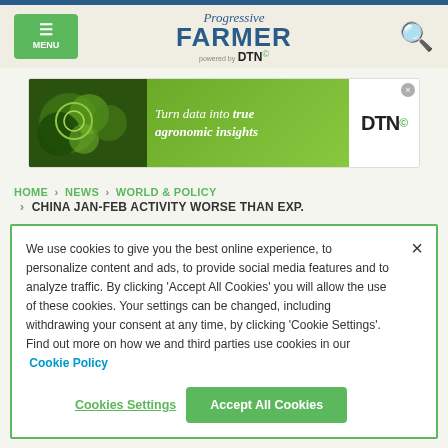MENU | Progressive FARMER powered by DTN | [search icon]
[Figure (other): DTN advertisement banner: 'Turn data into true agronomic insights' with DTN logo]
HOME > NEWS > WORLD & POLICY > CHINA JAN-FEB ACTIVITY WORSE THAN EXP.
We use cookies to give you the best online experience, to personalize content and ads, to provide social media features and to analyze traffic. By clicking 'Accept All Cookies' you will allow the use of these cookies. Your settings can be changed, including withdrawing your consent at any time, by clicking 'Cookie Settings'. Find out more on how we and third parties use cookies in our Cookie Policy
Cookies Settings | Accept All Cookies